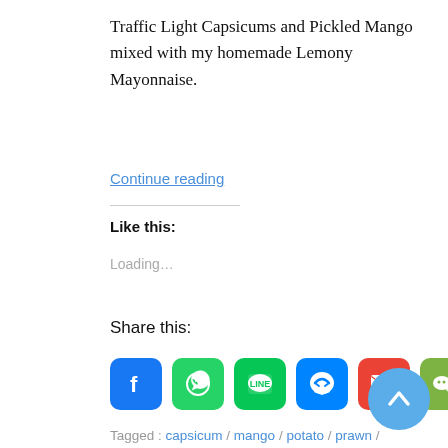Traffic Light Capsicums and Pickled Mango mixed with my homemade Lemony Mayonnaise.
Continue reading
Like this:
Loading…
Share this:
[Figure (infographic): Row of six social share icon buttons: Facebook (blue), WhatsApp (green), LINE (green), Messenger (blue), Gmail (red), WeChat (olive green)]
Tagged : capsicum / mango / potato / prawn / shrimp